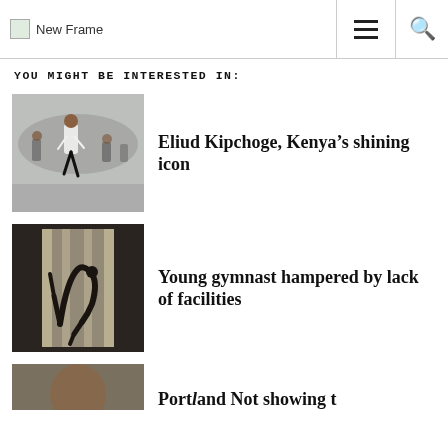New Frame
YOU MIGHT BE INTERESTED IN:
[Figure (photo): Marathon runners on a city street, lead runner in white vest]
Eliud Kipchoge, Kenya’s shining icon
[Figure (photo): Silhouette of a gymnast performing a backbend against a bright window]
Young gymnast hampered by lack of facilities
[Figure (photo): Partial view of a person, third article card cut off]
Partial and Not shown text